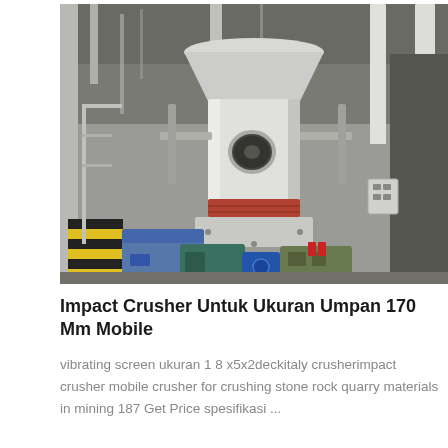[Figure (photo): Photo of an industrial impact crusher / grinding mill machine inside a factory building. The machine is large, white/grey cylindrical with a circular opening port, supported by metal framework, with blue and teal colored auxiliary equipment and motors at the base. Industrial piping and columns visible in background.]
Impact Crusher Untuk Ukuran Umpan 170 Mm Mobile
vibrating screen ukuran 1 8 x5x2deckitaly crusherimpact crusher mobile crusher for crushing stone rock quarry materials in mining 187 Get Price spesifikasi ...